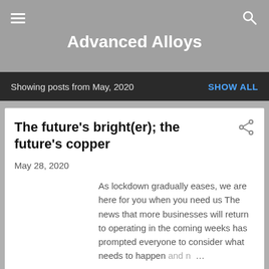Advanced Alloys
Showing posts from May, 2020
The future's bright(er); the future's copper
May 28, 2020
As lockdown gradually eases, we are here for you when you need us The news that more businesses will return to operating in the coming weeks has prompted everyone to consider what needs to happen and n…